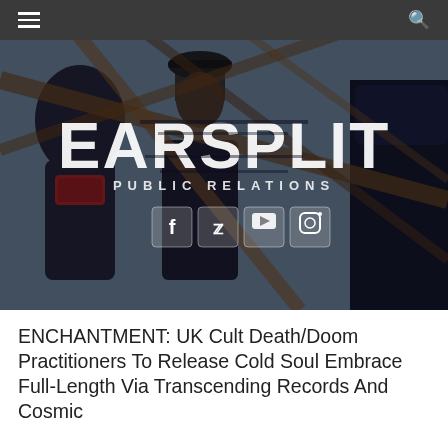EARSPLIT PUBLIC RELATIONS — navigation bar with hamburger menu and search icon
[Figure (photo): Band photo of three members of Enchantment standing among rusted metal structures in an industrial outdoor setting, overlaid with the Earsplit Public Relations logo in large distressed white lettering and four social media icon buttons (Facebook, Twitter, YouTube, Instagram) below the logo]
ENCHANTMENT: UK Cult Death/Doom Practitioners To Release Cold Soul Embrace Full-Length Via Transcending Records And Cosmic